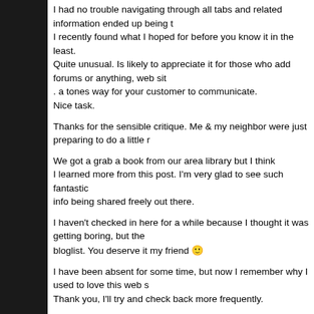I had no trouble navigating through all tabs and related information ended up being t
I recently found what I hoped for before you know it in the least.
Quite unusual. Is likely to appreciate it for those who add forums or anything, web sit
. a tones way for your customer to communicate.
Nice task.
Thanks for the sensible critique. Me & my neighbor were just preparing to do a little r
We got a grab a book from our area library but I think
I learned more from this post. I'm very glad to see such fantastic
info being shared freely out there.
I haven't checked in here for a while because I thought it was getting boring, but the
bloglist. You deserve it my friend 🙂
I have been absent for some time, but now I remember why I used to love this web s
Thank you, I'll try and check back more frequently.
How frequently you update your website?
Hello, you used to write wonderful, but the last
several posts have been kinda boring… I miss your super writings.
Past few posts are just a bit out of track! come on!
I like what you guys are up too. Such intelligent work and reporting!
Keep up the superb works guys I've incorporated you guys to my blogroll.
I think it'll improve the value of my web site :).
Thank you for sharing excellent informations. Your web-site is
very cool. I'm impressed by the details that you have on this site.
It reveals how nicely you perceive this subject.